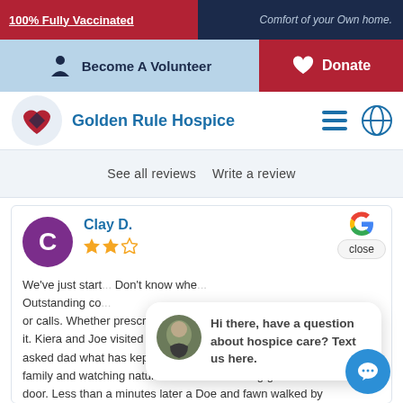100% Fully Vaccinated | Comfort of your Own home.
Become A Volunteer
Donate
Golden Rule Hospice
See all reviews   Write a review
Clay D.
We've just start... Don't know whe... Outstanding co... or calls. Whether prescriptions or supplies he's on top of it. Kiera and Joe visited and I swear this happened. Joe asked dad what has kept him going for 89 years. Dad... family and watching nature out his back sliding glass door. Less than a minutes later a Doe and fawn walked by
Hi there, have a question about hospice care? Text us here.